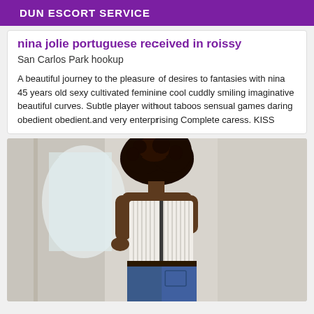DUN ESCORT SERVICE
nina jolie portuguese received in roissy
San Carlos Park hookup
A beautiful journey to the pleasure of desires to fantasies with nina 45 years old sexy cultivated feminine cool cuddly smiling imaginative beautiful curves. Subtle player without taboos sensual games daring obedient obedient.and very enterprising Complete caress. KISS
[Figure (photo): Photo of a woman seen from behind, with curly hair, wearing a white striped top and dark jeans, standing on stairs near a wall.]